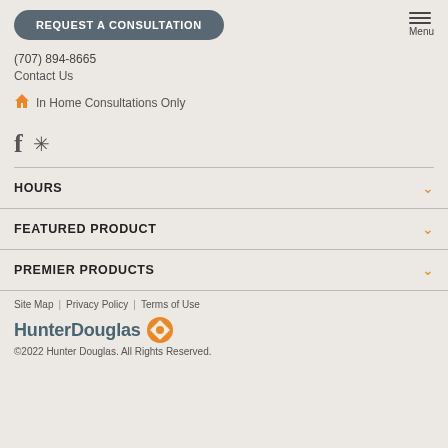REQUEST A CONSULTATION | Menu
(707) 894-8665
Contact Us
In Home Consultations Only
HOURS
FEATURED PRODUCT
PREMIER PRODUCTS
Site Map | Privacy Policy | Terms of Use
HunterDouglas
©2022 Hunter Douglas. All Rights Reserved.